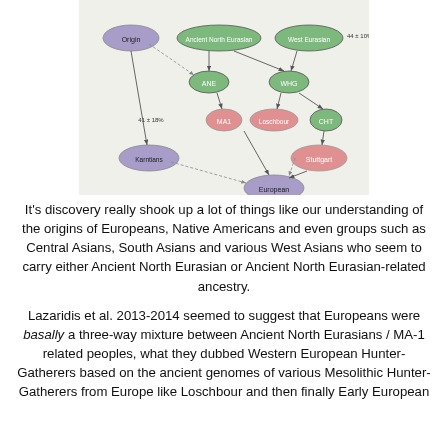[Figure (network-graph): A directed ancestry/admixture graph showing nodes labeled: Origin, Ancient North Eurasian, West Eurasian (44 ± 10%), ANE, WHG, MA1, Loschbour, CHT, Karntians, Stuttgart, European. Arrows (solid and dashed) connect the nodes indicating ancestry flows and admixture proportions, e.g. 41 ± 18%.]
It's discovery really shook up a lot of things like our understanding of the origins of Europeans, Native Americans and even groups such as Central Asians, South Asians and various West Asians who seem to carry either Ancient North Eurasian or Ancient North Eurasian-related ancestry.
Lazaridis et al. 2013-2014 seemed to suggest that Europeans were basally a three-way mixture between Ancient North Eurasians / MA-1 related peoples, what they dubbed Western European Hunter-Gatherers based on the ancient genomes of various Mesolithic Hunter-Gatherers from Europe like Loschbour and then finally Early European